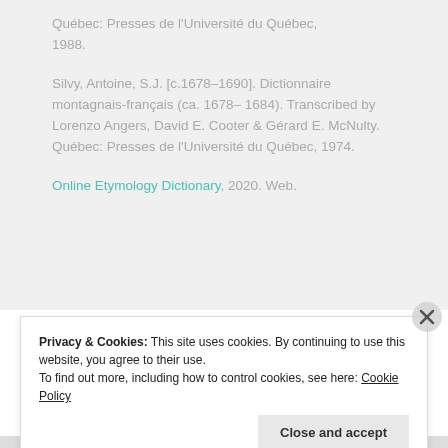Québec: Presses de l'Université du Québec, 1988.
Silvy, Antoine, S.J. [c.1678–1690]. Dictionnaire montagnais-français (ca. 1678–1684). Transcribed by Lorenzo Angers, David E. Cooter & Gérard E. McNulty. Québec: Presses de l'Université du Québec, 1974.
Online Etymology Dictionary, 2020. Web.
Privacy & Cookies: This site uses cookies. By continuing to use this website, you agree to their use.
To find out more, including how to control cookies, see here: Cookie Policy
Close and accept